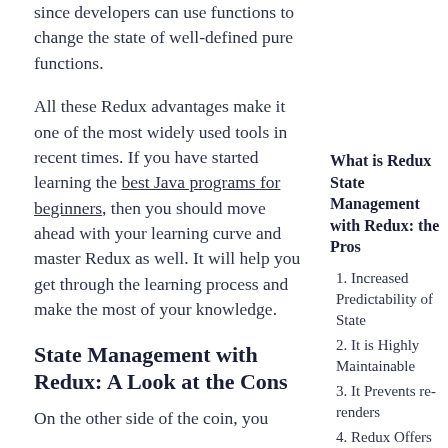since developers can use functions to change the state of well-defined pure functions.
All these Redux advantages make it one of the most widely used tools in recent times. If you have started learning the best Java programs for beginners, then you should move ahead with your learning curve and master Redux as well. It will help you get through the learning process and make the most of your knowledge.
State Management with Redux: A Look at the Cons
On the other side of the coin, you
What is Redux State Management with Redux: the Pros
1. Increased Predictability of State
2. It is Highly Maintainable
3. It Prevents re-renders
4. Redux Offers Performance
5. Makes Debugging Easier